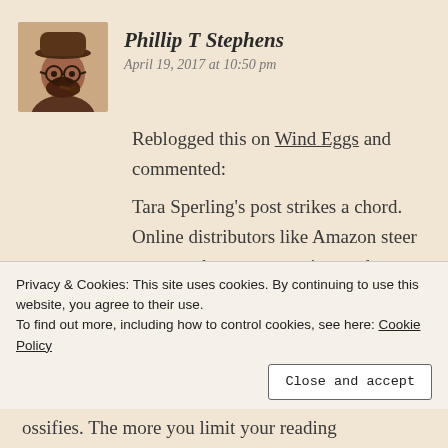[Figure (photo): Avatar/profile photo of Phillip T Stephens, a bearded man wearing a hat and glasses, holding a pipe.]
Phillip T Stephens
April 19, 2017 at 10:50 pm
Reblogged this on Wind Eggs and commented:
Tara Sperling's post strikes a chord. Online distributors like Amazon steer us toward genres we enjoy, and away from the discovery of literary gems. The more we focus on preferred genres as readers, the less flexible our writer's brain.* Our own books suffer and our readers suffer in turn
Privacy & Cookies: This site uses cookies. By continuing to use this website, you agree to their use.
To find out more, including how to control cookies, see here: Cookie Policy
Close and accept
ossifies. The more you limit your reading